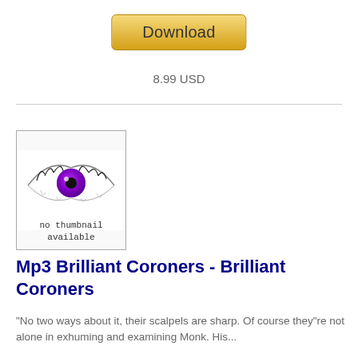[Figure (other): Download button (gold/yellow rounded rectangle) at top center]
8.99 USD
[Figure (photo): Album art placeholder showing a purple eye on white background with text 'no thumbnail available']
Mp3 Brilliant Coroners - Brilliant Coroners
"No two ways about it, their scalpels are sharp. Of course they"re not alone in exhuming and examining Monk. His...
12 MB
[Figure (other): Download button (gold/yellow rounded rectangle) at bottom center]